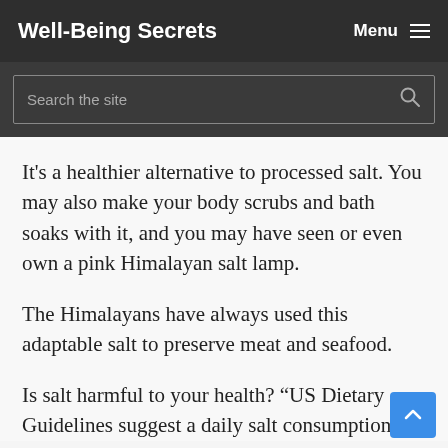Well-Being Secrets
Search the site
It's a healthier alternative to processed salt. You may also make your body scrubs and bath soaks with it, and you may have seen or even own a pink Himalayan salt lamp.
The Himalayans have always used this adaptable salt to preserve meat and seafood.
Is salt harmful to your health? “US Dietary Guidelines suggest a daily salt consumption of